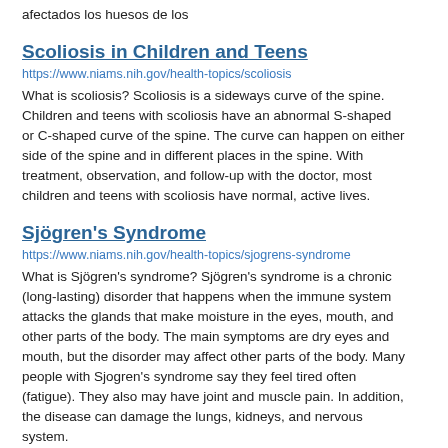afectados los huesos de los
Scoliosis in Children and Teens
https://www.niams.nih.gov/health-topics/scoliosis
What is scoliosis? Scoliosis is a sideways curve of the spine. Children and teens with scoliosis have an abnormal S-shaped or C-shaped curve of the spine. The curve can happen on either side of the spine and in different places in the spine. With treatment, observation, and follow-up with the doctor, most children and teens with scoliosis have normal, active lives.
Sjögren's Syndrome
https://www.niams.nih.gov/health-topics/sjogrens-syndrome
What is Sjögren's syndrome? Sjögren's syndrome is a chronic (long-lasting) disorder that happens when the immune system attacks the glands that make moisture in the eyes, mouth, and other parts of the body. The main symptoms are dry eyes and mouth, but the disorder may affect other parts of the body. Many people with Sjogren's syndrome say they feel tired often (fatigue). They also may have joint and muscle pain. In addition, the disease can damage the lungs, kidneys, and nervous system.
Osteogenesis Imperfecta